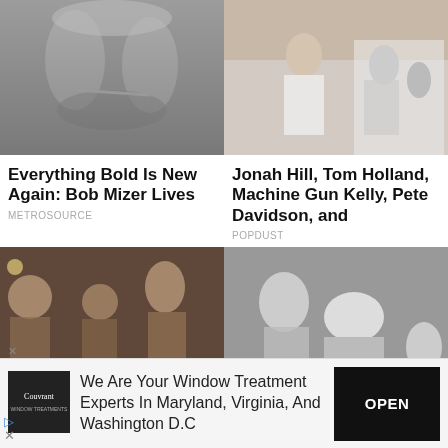[Figure (photo): Black and white photo of two muscular male figures holding hands, classical style]
Everything Bold Is New Again: Bob Mizer Lives
METROSOURCE
[Figure (photo): Color photo of Jonah Hill, Tom Holland, Machine Gun Kelly, Pete Davidson in a room]
Jonah Hill, Tom Holland, Machine Gun Kelly, Pete Davidson, and
POPDUST
[Figure (photo): Color photo of older and younger men posing, one shirtless on blue chair]
[Figure (photo): Black and white photo of people around a bed, medical or artistic scene]
We Are Your Window Treatment Experts In Maryland, Virginia, And Washington D.C
OPEN